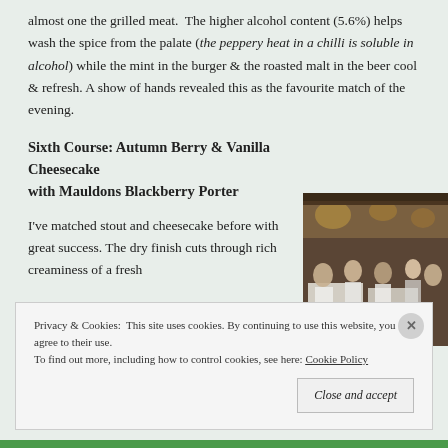almost one the grilled meat. The higher alcohol content (5.6%) helps wash the spice from the palate (the peppery heat in a chilli is soluble in alcohol) while the mint in the burger & the roasted malt in the beer cool & refresh. A show of hands revealed this as the favourite match of the evening.
Sixth Course: Autumn Berry & Vanilla Cheesecake
with Mauldons Blackberry Porter
[Figure (photo): Photo of people dining at a long table in a restaurant with warm lighting]
I've matched stout and cheesecake before with great success. The dry finish cuts through rich creaminess of a fresh
Privacy & Cookies: This site uses cookies. By continuing to use this website, you agree to their use.
To find out more, including how to control cookies, see here: Cookie Policy